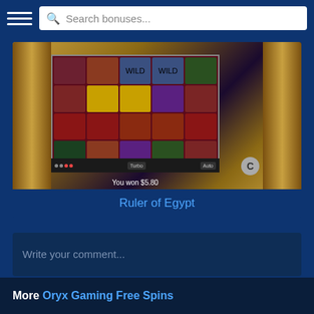Search bonuses...
[Figure (screenshot): Screenshot of Ruler of Egypt slot game showing a 5x4 grid of Egyptian-themed symbols on a dark red background, with Egyptian pillar decorations on the sides and 'You won $5.80' text at the bottom]
Ruler of Egypt
Write your comment...
More Oryx Gaming Free Spins